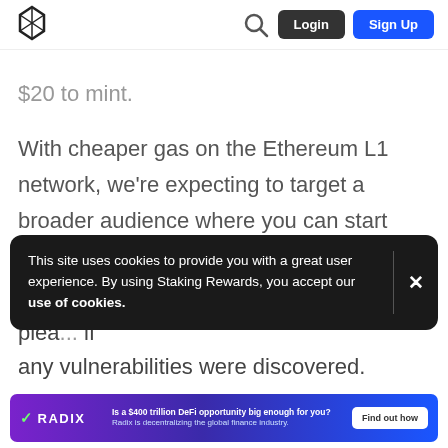Login | Sign Up
$20 to mint.
With cheaper gas on the Ethereum L1 network, we're expecting to target a broader audience where you can start your own FLUX mint with just $5.
This site uses cookies to provide you with a great user experience. By using Staking Rewards, you accept our use of cookies.
plea... if any vulnerabilities were discovered.
[Figure (infographic): Radix advertisement banner: Is a $400 trillion DeFi opportunity big enough for you? Radix is decentralizing the global finance industry. Find out how.]